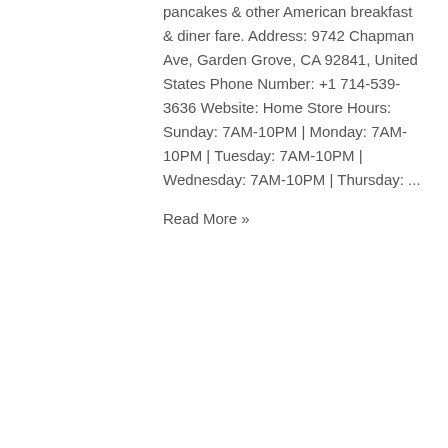pancakes & other American breakfast & diner fare. Address: 9742 Chapman Ave, Garden Grove, CA 92841, United States Phone Number: +1 714-539-3636 Website: Home Store Hours: Sunday: 7AM-10PM | Monday: 7AM-10PM | Tuesday: 7AM-10PM | Wednesday: 7AM-10PM | Thursday: ...
Read More »